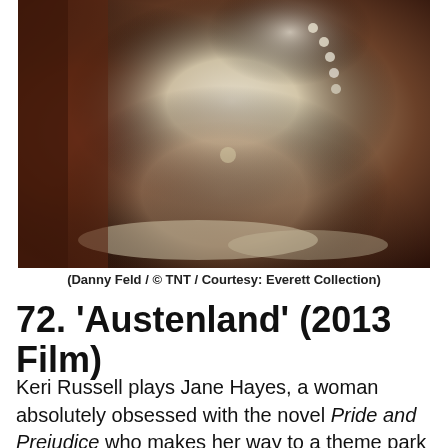[Figure (photo): Close-up photo of a woman in a period Regency-era cream/ivory costume with ruffled edges and a pearl necklace, seated on a dark brown leather surface. Only the torso and legs are visible, no face shown.]
(Danny Feld / © TNT / Courtesy: Everett Collection)
72. ‘Austenland’ (2013 Film)
Keri Russell plays Jane Hayes, a woman absolutely obsessed with the novel Pride and Prejudice who makes her way to a theme park based on the writings of Jane Austen. The result: do not cut